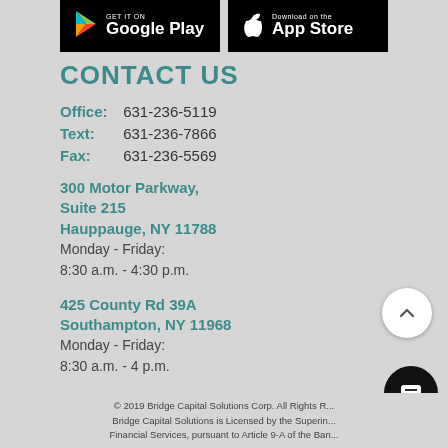[Figure (logo): Google Play and App Store download badges]
CONTACT US
Office: 631-236-5119
Text: 631-236-7866
Fax: 631-236-5569
300 Motor Parkway, Suite 215 Hauppauge, NY 11788 Monday - Friday: 8:30 a.m. - 4:30 p.m.
425 County Rd 39A Southampton, NY 11968 Monday - Friday: 8:30 a.m. - 4 p.m.
© 2019 Bridge Capital Solutions Corp. All Rights R... Bridge Capital Solutions is Licensed by the Superin... Financial Services, pursuant to Article 9-A of the Ban...